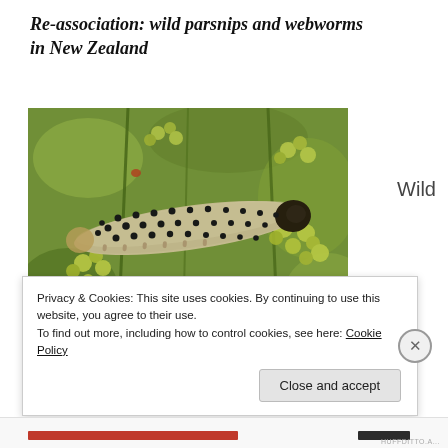Re-association: wild parsnips and webworms in New Zealand
Wild
[Figure (photo): Close-up photograph of a caterpillar (webworm) crawling on wild parsnip flowers. The caterpillar is pale/cream colored with many black spots and a dark head capsule. The background shows green foliage and small yellow-green parsnip flowers.]
Privacy & Cookies: This site uses cookies. By continuing to use this website, you agree to their use.
To find out more, including how to control cookies, see here: Cookie Policy
Close and accept